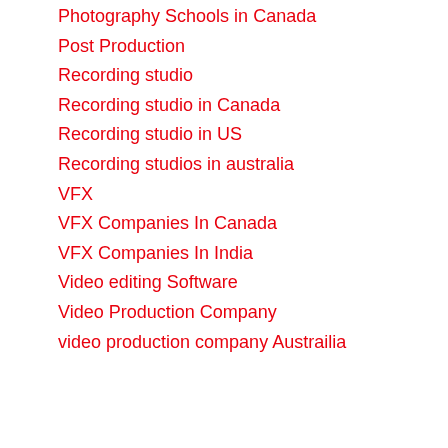Photography Schools in Canada
Post Production
Recording studio
Recording studio in Canada
Recording studio in US
Recording studios in australia
VFX
VFX Companies In Canada
VFX Companies In India
Video editing Software
Video Production Company
video production company Austrailia